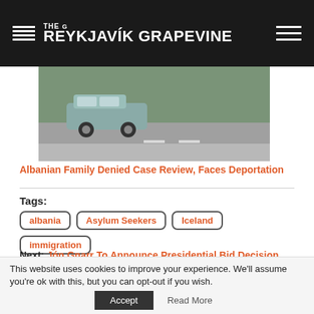THE REYKJAVÍK GRAPEVINE
[Figure (photo): A grey SUV parked on a road with green trees and grass in the background, cloudy sky]
Albanian Family Denied Case Review, Faces Deportation
Tags: albania  Asylum Seekers  Iceland  immigration
Next: Jón Gnarr To Announce Presidential Bid Decision On Friday
Previous: Retailers Preparing To Sell Alcohol In Stores
This website uses cookies to improve your experience. We'll assume you're ok with this, but you can opt-out if you wish.